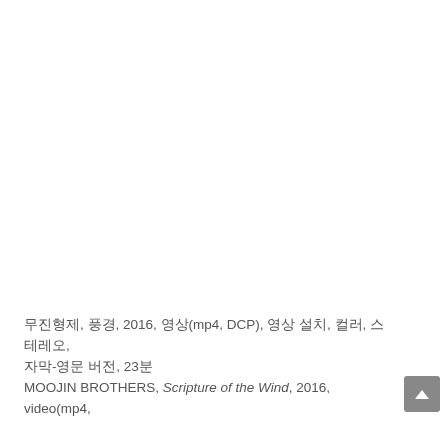무진형제, 풍경, 2016, 영상(mp4, DCP), 영상 설치, 컬러, 스테레오, 자막-영문 버전, 23분
MOOJIN BROTHERS, Scripture of the Wind, 2016, video(mp4,